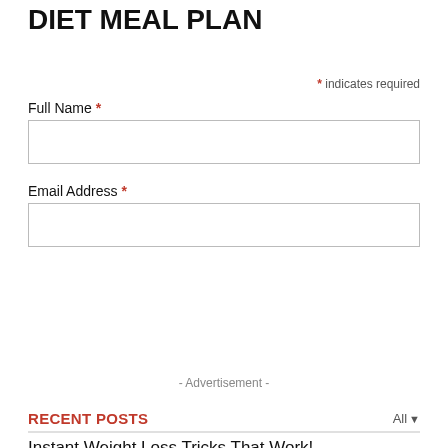DIET MEAL PLAN
* indicates required
Full Name *
Email Address *
Subscribe
- Advertisement -
RECENT POSTS
Instant Weight Loss Tricks That Work!